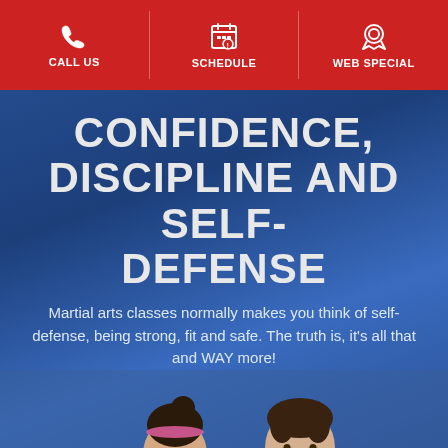CALL US | SCHEDULE | WEB SPECIAL
CONFIDENCE, DISCIPLINE AND SELF-DEFENSE
Martial arts classes normally makes you think of self-defense, being strong, fit and safe. The truth is, it's all that and WAY more!
[Figure (photo): Two children in martial arts uniforms (white gi) — a girl with a pink headband and a boy — posed against a blue blurred background]